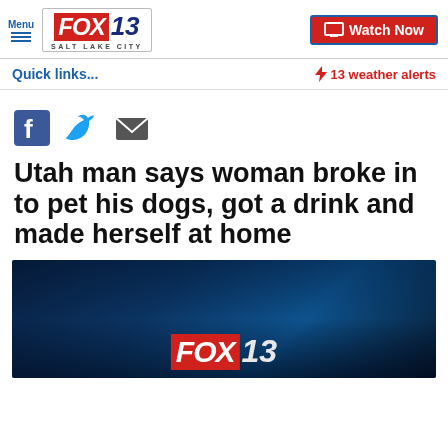FOX 13 SALT LAKE CITY — Menu | Watch Now
Quick links...
⚡ 13 weather alerts
Utah man says woman broke in to pet his dogs, got a drink and made herself at home
[Figure (logo): FOX 13 Salt Lake City logo watermark on dark blue background]